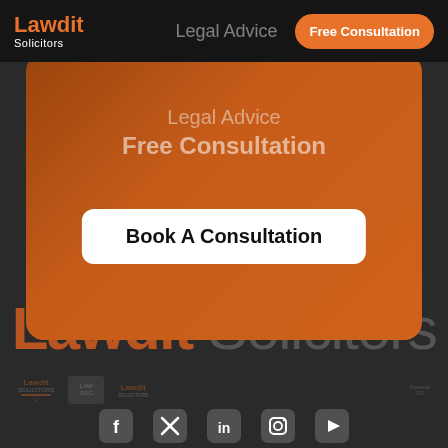[Figure (screenshot): Lawdit Solicitors website screenshot showing navigation bar with orange logo, Free Consultation button, hero card with orange background and person silhouette, Book A Consultation button, large Lawdit Solicitors logo text, badge logos, and social media icons]
Lawdit Solicitors
Legal Advice
Free Consultation
Free Consultation
Book A Consultation
Lawdit Solicitors